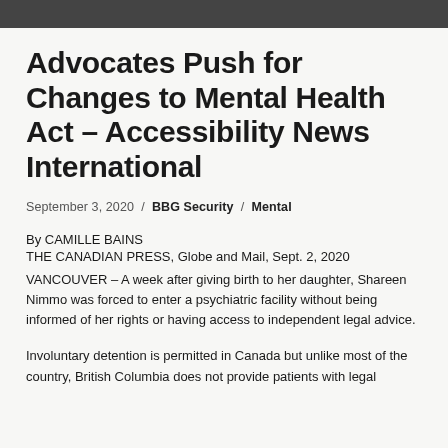Advocates Push for Changes to Mental Health Act – Accessibility News International
September 3, 2020 / BBG Security / Mental
By CAMILLE BAINS
THE CANADIAN PRESS, Globe and Mail, Sept. 2, 2020
VANCOUVER – A week after giving birth to her daughter, Shareen Nimmo was forced to enter a psychiatric facility without being informed of her rights or having access to independent legal advice.
Involuntary detention is permitted in Canada but unlike most of the country, British Columbia does not provide patients with legal